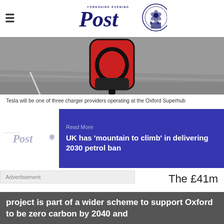Yorkshire Evening Post
[Figure (photo): Close-up of a red Tesla EV charging connector unit mounted on a post, with pavement/ground visible in background]
Tesla will be one of three charger providers operating at the Oxford Superhub
[Figure (other): Read More promotional block with blue background: UK has 'mountain to climb' in delivering 2030 petrol ban]
Advertisement
The £41m project is part of a wider scheme to support Oxford to be zero carbon by 2040 and